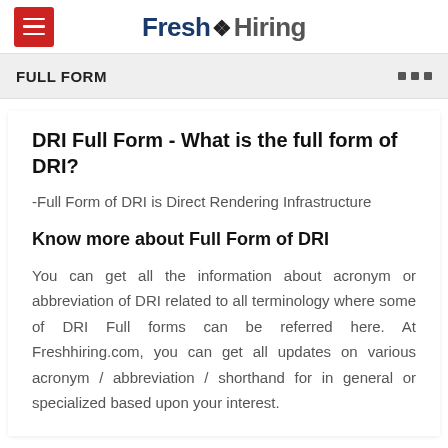Fresh Hiring
FULL FORM
DRI Full Form - What is the full form of DRI?
-Full Form of DRI is Direct Rendering Infrastructure
Know more about Full Form of DRI
You can get all the information about acronym or abbreviation of DRI related to all terminology where some of DRI Full forms can be referred here. At Freshhiring.com, you can get all updates on various acronym / abbreviation / shorthand for in general or specialized based upon your interest.